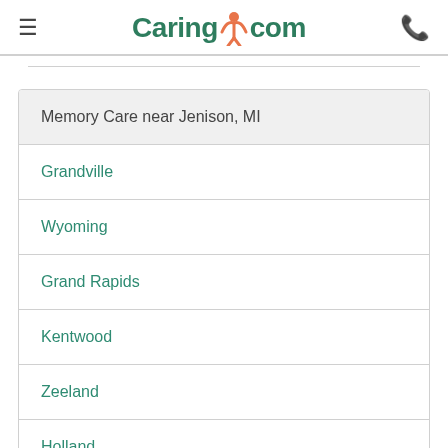Caring.com
Memory Care near Jenison, MI
Grandville
Wyoming
Grand Rapids
Kentwood
Zeeland
Holland